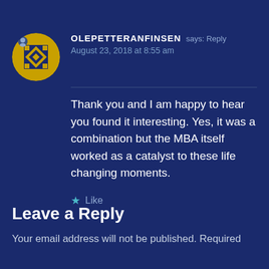OLEPETTERANFINSEN says: Reply
August 23, 2018 at 8:55 am
Thank you and I am happy to hear you found it interesting. Yes, it was a combination but the MBA itself worked as a catalyst to these life changing moments.
★ Like
Leave a Reply
Your email address will not be published. Required